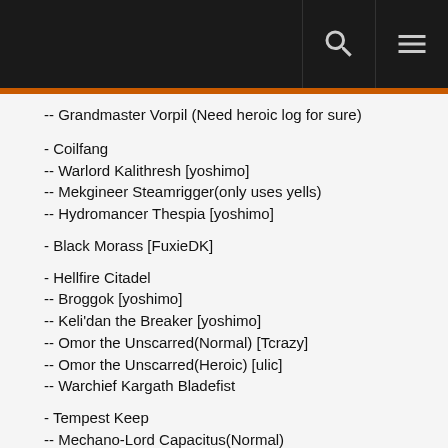[navigation bar with search and menu icons]
-- Grandmaster Vorpil (Need heroic log for sure)
- Coilfang
-- Warlord Kalithresh [yoshimo]
-- Mekgineer Steamrigger(only uses yells)
-- Hydromancer Thespia [yoshimo]
- Black Morass [FuxieDK]
- Hellfire Citadel
-- Broggok [yoshimo]
-- Keli'dan the Breaker [yoshimo]
-- Omor the Unscarred(Normal) [Tcrazy]
-- Omor the Unscarred(Heroic) [ulic]
-- Warchief Kargath Bladefist
- Tempest Keep
-- Mechano-Lord Capacitus(Normal)
-- Mechano-Lord Capacitus(Heroic) [yoshimo]